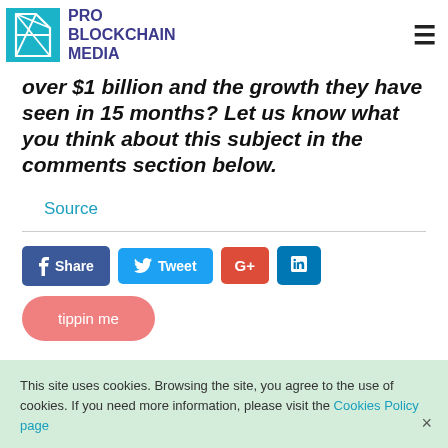PRO BLOCKCHAIN MEDIA
over $1 billion and the growth they have seen in 15 months? Let us know what you think about this subject in the comments section below.
Source
[Figure (other): Social sharing buttons: Share (Facebook), Tweet (Twitter), G+ (Google Plus), LinkedIn]
[Figure (other): Tippin me button]
This site uses cookies. Browsing the site, you agree to the use of cookies. If you need more information, please visit the Cookies Policy page